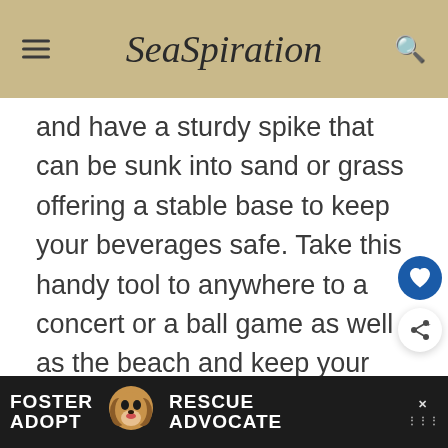SeaSpiration
and have a sturdy spike that can be sunk into sand or grass offering a stable base to keep your beverages safe. Take this handy tool to anywhere to a concert or a ball game as well as the beach and keep your drink from falling in the sand as well as away from ants and other critters!
[Figure (infographic): Advertisement banner: FOSTER ADOPT / RESCUE ADVOCATE with dog image and close button]
[Figure (infographic): Heart favorite button (blue circle) and share button (white circle)]